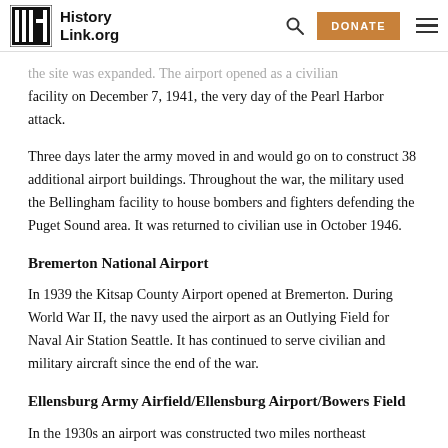HistoryLink.org
the site was expanded. The airport opened as a civilian facility on December 7, 1941, the very day of the Pearl Harbor attack.
Three days later the army moved in and would go on to construct 38 additional airport buildings. Throughout the war, the military used the Bellingham facility to house bombers and fighters defending the Puget Sound area. It was returned to civilian use in October 1946.
Bremerton National Airport
In 1939 the Kitsap County Airport opened at Bremerton. During World War II, the navy used the airport as an Outlying Field for Naval Air Station Seattle. It has continued to serve civilian and military aircraft since the end of the war.
Ellensburg Army Airfield/Ellensburg Airport/Bowers Field
In the 1930s an airport was constructed two miles northeast